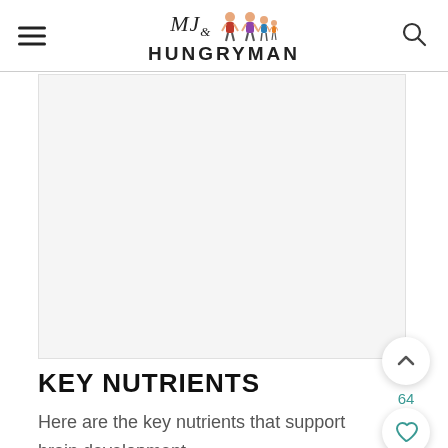MJ& HUNGRYMAN
[Figure (illustration): Cartoon illustration of a family - MJ and Hungryman logo characters]
KEY NUTRIENTS
Here are the key nutrients that support brain development